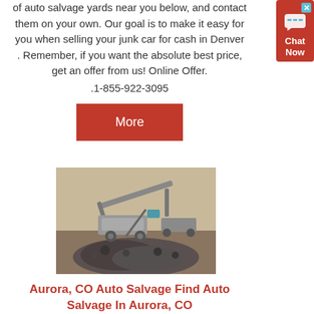of auto salvage yards near you below, and contact them on your own. Our goal is to make it easy for you when selling your junk car for cash in Denver . Remember, if you want the absolute best price, get an offer from us! Online Offer. .1-855-922-3095
[Figure (other): A red More button]
[Figure (photo): An outdoor photo of an auto salvage / scrap yard with machinery and a large pile of crushed rock and metal debris.]
Aurora, CO Auto Salvage Find Auto Salvage In Aurora, CO